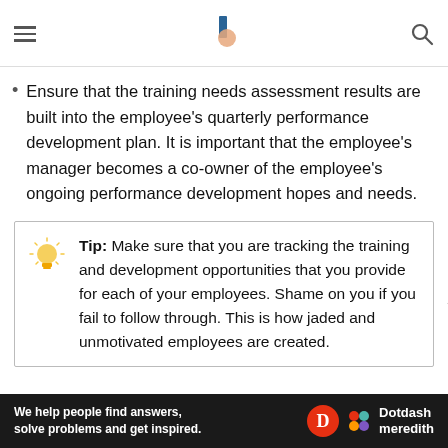[hamburger menu] [logo] [search icon]
Ensure that the training needs assessment results are built into the employee's quarterly performance development plan. It is important that the employee's manager becomes a co-owner of the employee's ongoing performance development hopes and needs.
Tip: Make sure that you are tracking the training and development opportunities that you provide for each of your employees. Shame on you if you fail to follow through. This is how jaded and unmotivated employees are created.
We help people find answers, solve problems and get inspired. Dotdash meredith